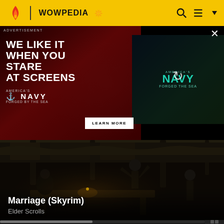WOWPEDIA
[Figure (photo): Advertisement for America's Navy showing a woman in a dark red lit environment with text 'WE LIKE IT WHEN YOU STARE AT SCREENS' and America's Navy - Forged by the Sea branding, with a Learn More button and a video thumbnail on the right]
[Figure (screenshot): Dark fantasy tavern scene from Elder Scrolls Skyrim game, showing characters in a dimly lit interior with wooden beams and candlelight]
Marriage (Skyrim)
Elder Scrolls